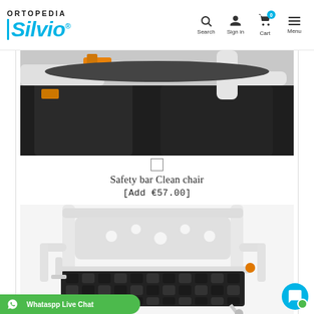[Figure (logo): Ortopedia Silvio logo with blue bar and text, navigation icons for Search, Sign in, Cart (badge 0), Menu]
[Figure (photo): Close-up photo of safety bar on clean chair, showing black padding/legs and orange hardware against white background]
Safety bar Clean chair
[Add €57.00]
[Figure (photo): White shower/commode chair with black air-cushion seat pad, on wheels, showing armrests and frame]
Whataspp Live Chat